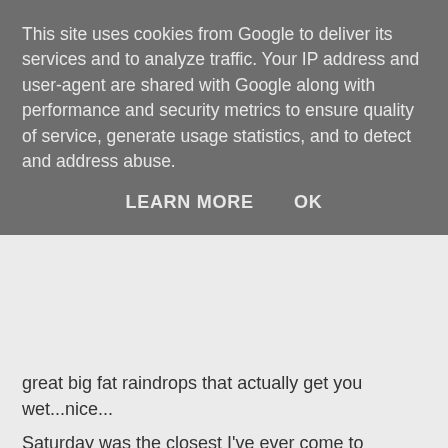This site uses cookies from Google to deliver its services and to analyze traffic. Your IP address and user-agent are shared with Google along with performance and security metrics to ensure quality of service, generate usage statistics, and to detect and address abuse.
LEARN MORE   OK
great big fat raindrops that actually get you wet...nice...
Saturday was the closest I've ever come to experiencing real depression. For some reason I just felt hopeless. I didn't bother to get dressed properly and I sat around knitting all ay alone in myroom in the silence or listening breifly to the radio. Being around peoplefelt like too much bother. The upside is that the shurg is awaiting blocking and weaving in of endswhich is nice.
Sunday was better. Rob and I after church came back here and sorted out the computer for my sisters and then we went